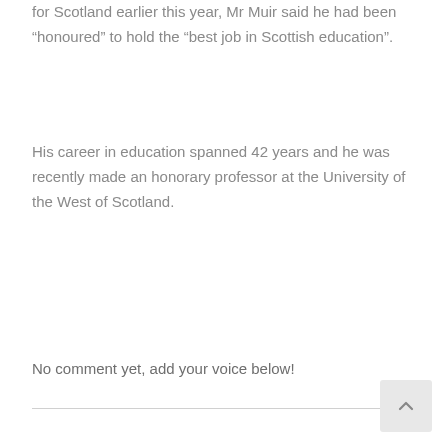for Scotland earlier this year, Mr Muir said he had been “honoured” to hold the “best job in Scottish education”.
His career in education spanned 42 years and he was recently made an honorary professor at the University of the West of Scotland.
No comment yet, add your voice below!